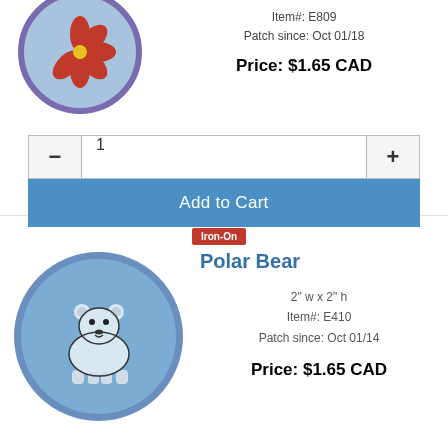Item#: E809
Patch since: Oct 01/18
Price: $1.65 CAD
[Figure (other): Quantity selector with minus and plus buttons, showing value 1]
Add to Cart
[Figure (photo): Iron-On badge label in red]
[Figure (illustration): Circular embroidered patch of a polar bear on blue background with purple border]
Polar Bear
2" w x 2" h
Item#: E410
Patch since: Oct 01/14
Price: $1.65 CAD